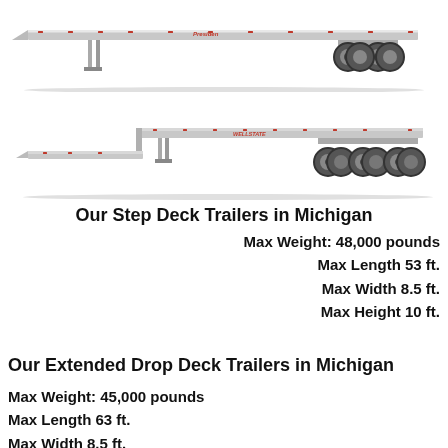[Figure (illustration): Side-view photo of a flatbed/step deck trailer (top), silver aluminum trailer with red marker lights and dual rear axle wheels]
[Figure (illustration): Side-view photo of a step deck / drop deck trailer (bottom), silver aluminum with red marker lights and triple rear axle wheels, showing the step drop at the front]
Our Step Deck Trailers in Michigan
Max Weight: 48,000 pounds
Max Length 53 ft.
Max Width 8.5 ft.
Max Height 10 ft.
Our Extended Drop Deck Trailers in Michigan
Max Weight: 45,000 pounds
Max Length 63 ft.
Max Width 8.5 ft.